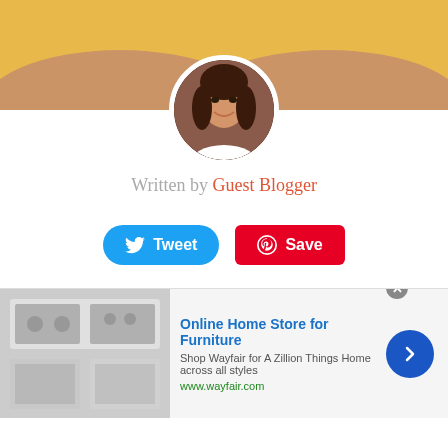[Figure (photo): Top banner with golden/tan background showing partial view of a person and circular avatar photo of a woman with dark hair smiling]
Written by Guest Blogger
[Figure (infographic): Social sharing buttons: Tweet (blue, rounded) and Save (red, Pinterest)]
In theory, if you never smile and never frown you will never develop wrinkles. Wrinkles are simply lines and creases that develop in your skin over time. They are achieved by repetitive movements. For example, every time you smile you move muscles in your face and these create a small groove under the skin's surface.  The skin bounces back
[Figure (screenshot): Advertisement banner: Online Home Store for Furniture - Shop Wayfair for A Zillion Things Home across all styles - www.wayfair.com]